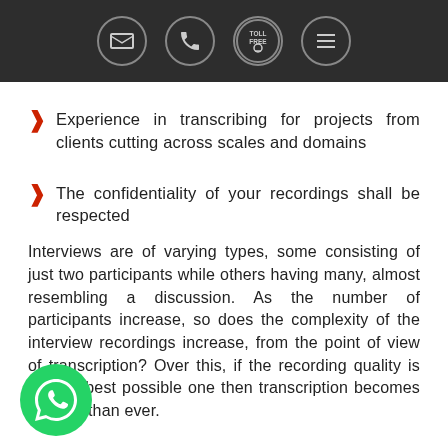[Header bar with icons: email, phone, toll free, menu]
Experience in transcribing for projects from clients cutting across scales and domains
The confidentiality of your recordings shall be respected
Interviews are of varying types, some consisting of just two participants while others having many, almost resembling a discussion. As the number of participants increase, so does the complexity of the interview recordings increase, from the point of view of transcription? Over this, if the recording quality is not the best possible one then transcription becomes tougher than ever.
[Figure (logo): WhatsApp button icon (green circle with white phone/chat icon)]